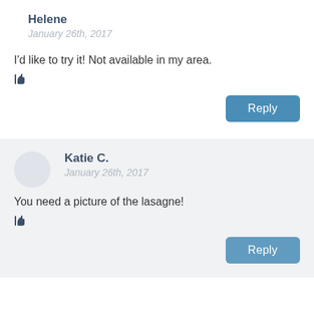Helene
January 26th, 2017
I'd like to try it! Not available in my area.
[Figure (illustration): Thumbs up like icon]
Reply
Katie C.
January 26th, 2017
You need a picture of the lasagne!
[Figure (illustration): Thumbs up like icon]
Reply